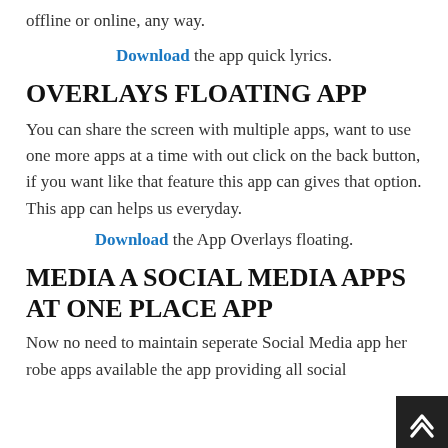offline or online, any way.
Download the app quick lyrics.
OVERLAYS FLOATING APP
You can share the screen with multiple apps, want to use one more apps at a time with out click on the back button, if you want like that feature this app can gives that option. This app can helps us everyday.
Download the App Overlays floating.
MEDIA A SOCIAL MEDIA APPS AT ONE PLACE APP
Now no need to maintain seperate Social Media ap her robe apps available the app providing all social media a    i      th    i    di